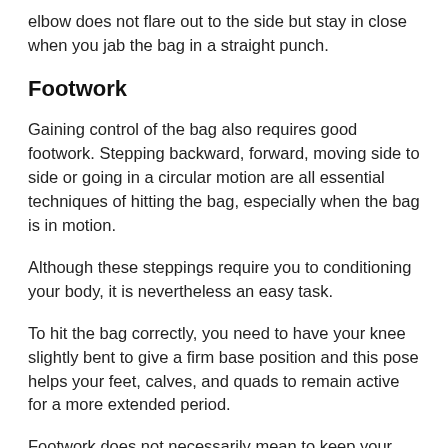elbow does not flare out to the side but stay in close when you jab the bag in a straight punch.
Footwork
Gaining control of the bag also requires good footwork. Stepping backward, forward, moving side to side or going in a circular motion are all essential techniques of hitting the bag, especially when the bag is in motion.
Although these steppings require you to conditioning your body, it is nevertheless an easy task.
To hit the bag correctly, you need to have your knee slightly bent to give a firm base position and this pose helps your feet, calves, and quads to remain active for a more extended period.
Footwork does not necessarily mean to keep your feet on the ground as you train, it's more of being able to